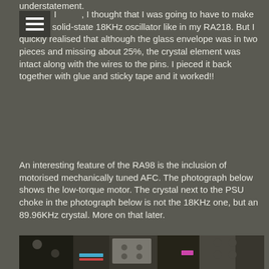understatement. I [menu], I thought that I was going to have to make another solid-state 18KHz oscillator like in my RA218. But I quickly realised that although the glass envelope was in two pieces and missing about 25%, the crystal element was intact along with the wires to the pins. I pieced it back together with glue and sticky tape and it worked!!
An interesting feature of the RA98 is the inclusion of motorised mechanically tuned AFC. The photograph below shows the low-torque motor. The crystal next to the PSU choke in the photograph below is not the 18KHz one, but an 89.96KHz crystal. More on that later.
[Figure (photo): Interior photograph of electronic equipment showing the RA98 chassis with components including a low-torque motor, PSU choke, crystal, and various electronic components mounted on the chassis.]